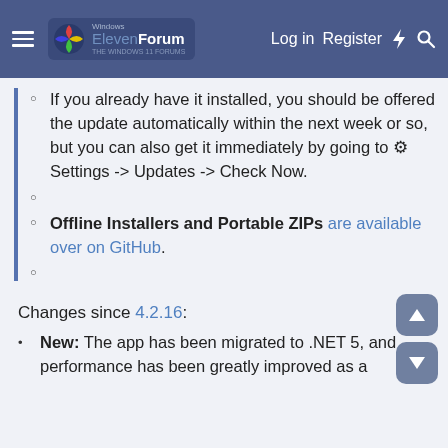ElevenForum — Log in   Register
If you already have it installed, you should be offered the update automatically within the next week or so, but you can also get it immediately by going to ⚙ Settings -> Updates -> Check Now.
Offline Installers and Portable ZIPs are available over on GitHub.
Changes since 4.2.16:
New: The app has been migrated to .NET 5, and performance has been greatly improved as a